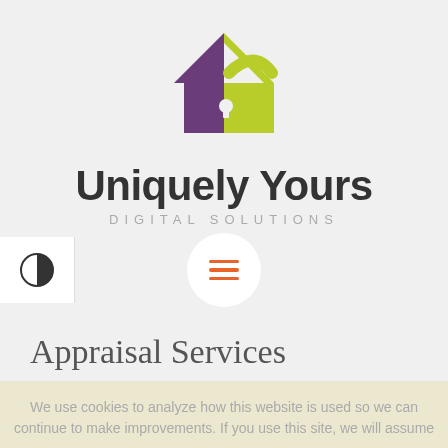[Figure (logo): House-shaped logo with purple left half and yellow-green right half (padlock shape), with a keyhole in the center]
Uniquely Yours
DIGITAL SOLUTIONS
Appraisal Services
We use cookies to analyze how this website is used so we can continue to make improvements. If you use this site, we will assume
Tricia Hoekwater | August 5, 2017  ♡ 0  💬 0
Appraisal Services